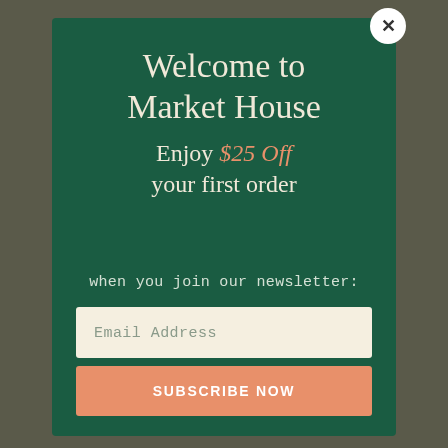Welcome to Market House
Enjoy $25 Off your first order
when you join our newsletter:
Email Address
SUBSCRIBE NOW